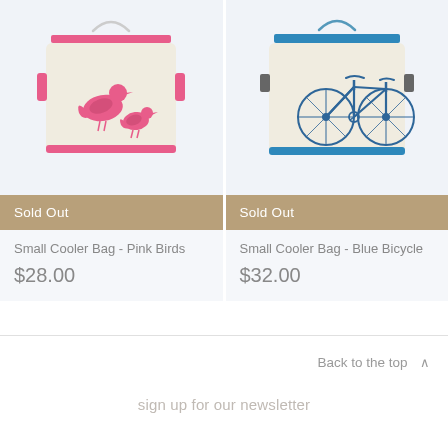[Figure (photo): Small Cooler Bag with pink birds design on canvas, pink trim and handle]
Sold Out
Small Cooler Bag - Pink Birds
$28.00
[Figure (photo): Small Cooler Bag with blue bicycle design on canvas, blue trim and handle]
Sold Out
Small Cooler Bag - Blue Bicycle
$32.00
Back to the top ∧
sign up for our newsletter